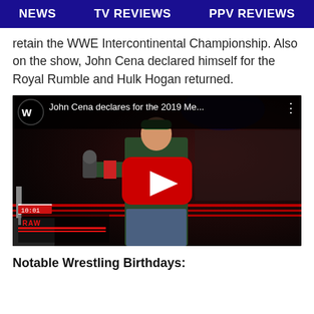NEWS   TV REVIEWS   PPV REVIEWS
retain the WWE Intercontinental Championship. Also on the show, John Cena declared himself for the Royal Rumble and Hulk Hogan returned.
[Figure (screenshot): YouTube video thumbnail showing John Cena in a green shirt holding a microphone on a WWE RAW stage. The video title reads 'John Cena declares for the 2019 Me...' with the WWE logo and a red YouTube play button overlay. The RAW logo is visible at the bottom left.]
Notable Wrestling Birthdays: